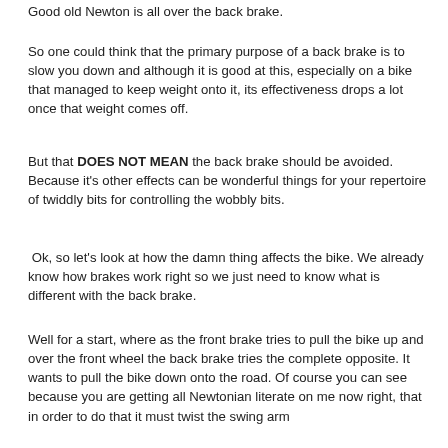Good old Newton is all over the back brake.
So one could think that the primary purpose of a back brake is to slow you down and although it is good at this, especially on a bike that managed to keep weight onto it, its effectiveness drops a lot once that weight comes off.
But that DOES NOT MEAN the back brake should be avoided.  Because it's other effects can be wonderful things for your repertoire of twiddly bits for controlling the wobbly bits.
Ok, so let's look at how the damn thing affects the bike.  We already know how brakes work right so we just need to know what is different with the back brake.
Well for a start, where as the front brake tries to pull the bike up and over the front wheel the back brake tries the complete opposite.  It wants to pull the bike down onto the road.  Of course you can see because you are getting all Newtonian literate on me now right, that in order to do that it must twist the swing arm